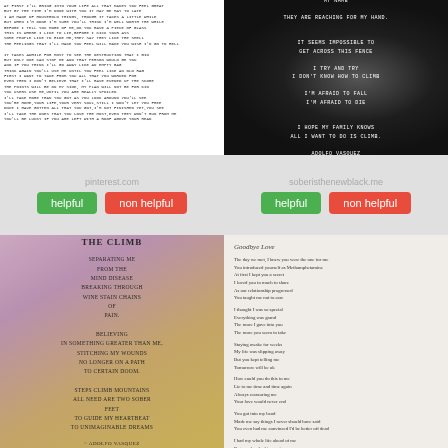[Figure (photo): White background with small uppercase poem text about destruction and taking things]
[Figure (photo): Dark/black background with glowing center, white uppercase poem text about climbing a fence, by Adolfo Vasquez]
pinterest.com
[Figure (infographic): Two buttons: green 'helpful' and red 'non helpful']
soberisthenewblack.me
[Figure (infographic): Two buttons: green 'helpful' and red 'non helpful']
[Figure (photo): Colorful gradient background poem image titled THE CLIMB by Adolfo Vasquez]
[Figure (photo): Light gray background poem titled Goodbye Love about methamphetamine addiction]